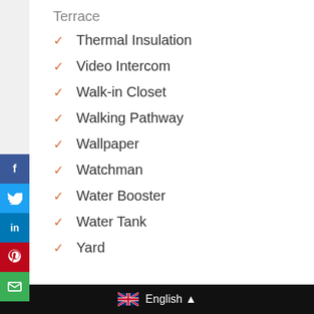Thermal Insulation
Video Intercom
Walk-in Closet
Walking Pathway
Wallpaper
Watchman
Water Booster
Water Tank
Yard
English